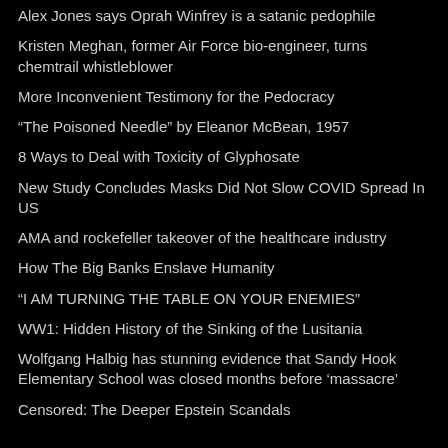Alex Jones says Oprah Winfrey is a satanic pedophile
Kristen Meghan, former Air Force bio-engineer, turns chemtrail whistleblower
More Inconvenient Testimony for the Pedocracy
“The Poisoned Needle” by Eleanor McBean, 1957
8 Ways to Deal with Toxicity of Glyphosate
New Study Concludes Masks Did Not Slow COVID Spread In US
AMA and rockefeller takeover of the healthcare industry
How The Big Banks Enslave Humanity
“I AM TURNING THE TABLE ON YOUR ENEMIES”
WW1: Hidden History of the Sinking of the Lusitania
Wolfgang Halbig has stunning evidence that Sandy Hook Elementary School was closed months before ‘massacre’
Censored: The Deeper Epstein Scandals